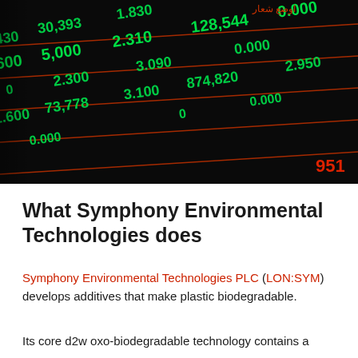[Figure (photo): Stock market ticker board showing green numbers and prices (including 0.430, 2.600, 1.600, 30,393, 5,000, 73,778, 1,830, 1,600, 2,300, 2,310, 0.000, 874,820, 128,544, 3,090, 2,950, 0.000, 0.000, 951) on a dark background with orange/red horizontal lines, Arabic text visible at top right]
What Symphony Environmental Technologies does
Symphony Environmental Technologies PLC (LON:SYM) develops additives that make plastic biodegradable.
Its core d2w oxo-biodegradable technology contains a